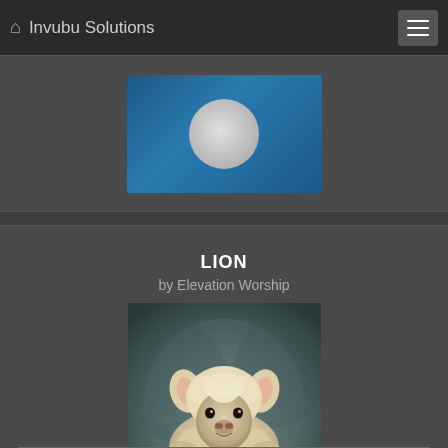Invubu Solutions
[Figure (screenshot): Partial card from previous page showing a blue album art with a circular moon/logo element, partially cropped at top of screen]
LION
by Elevation Worship
[Figure (photo): Close-up portrait photo of a young white lamb/sheep looking directly at the camera against a muted grayish-green background]
Released March 4, 2022